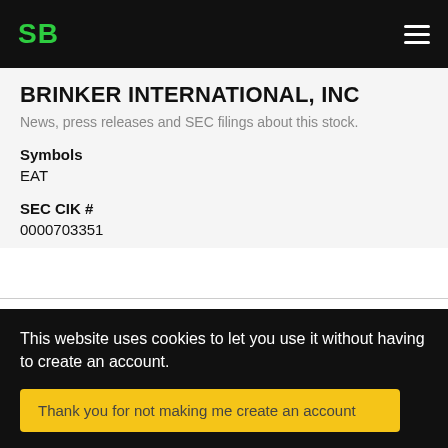SB
BRINKER INTERNATIONAL, INC
News, press releases and SEC filings about this stock.
Symbols
EAT
SEC CIK #
0000703351
undefined - undefined
filing
This website uses cookies to let you use it without having to create an account.
Thank you for not making me create an account